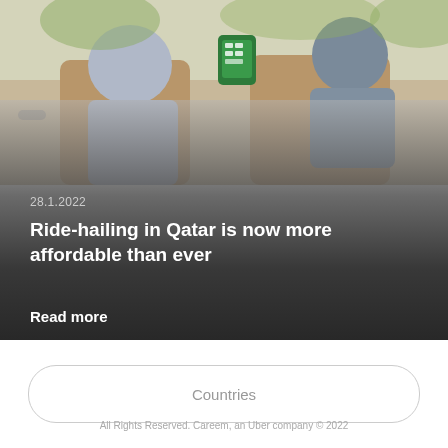[Figure (photo): Interior view of a car showing a female passenger in the back seat and a driver, with a green Careem device mounted on the headrest]
28.1.2022
Ride-hailing in Qatar is now more affordable than ever
Read more
Countries
All Rights Reserved. Careem, an Uber company © 2022